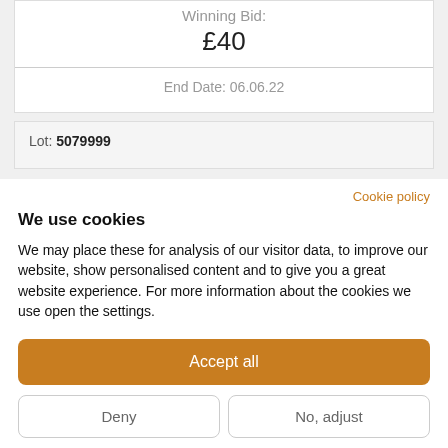Winning Bid: £40
End Date: 06.06.22
Lot: 5079999
Cookie policy
We use cookies
We may place these for analysis of our visitor data, to improve our website, show personalised content and to give you a great website experience. For more information about the cookies we use open the settings.
Accept all
Deny
No, adjust